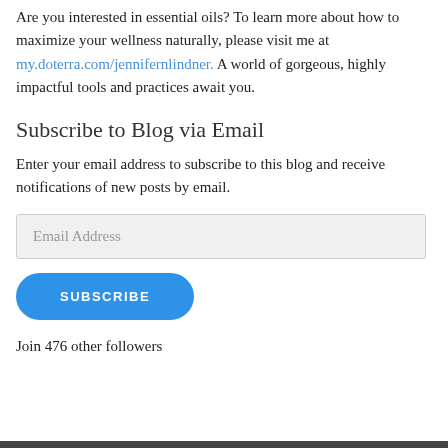Are you interested in essential oils? To learn more about how to maximize your wellness naturally, please visit me at my.doterra.com/jennifernlindner. A world of gorgeous, highly impactful tools and practices await you.
Subscribe to Blog via Email
Enter your email address to subscribe to this blog and receive notifications of new posts by email.
Email Address
SUBSCRIBE
Join 476 other followers